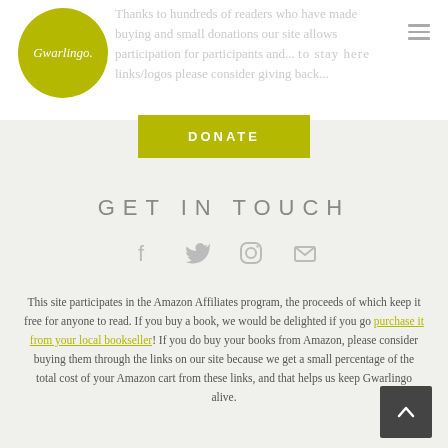[Figure (logo): Gwarlingo logo: yellow-green circle with white italic cursive text 'Gwarlingo.']
Thanks to hundreds of readers who have made buying and small donations our site allows... participation for participants and... links/logos please consider giving back...
DONATE
GET IN TOUCH
[Figure (infographic): Social media icons: Facebook (f), Twitter (bird), Instagram (camera), Email (envelope) rendered in light gray]
This site participates in the Amazon Affiliates program, the proceeds of which keep it free for anyone to read. If you buy a book, we would be delighted if you go purchase it from your local bookseller! If you do buy your books from Amazon, please consider buying them through the links on our site because we get a small percentage of the total cost of your Amazon cart from these links, and that helps us keep Gwarlingo alive.